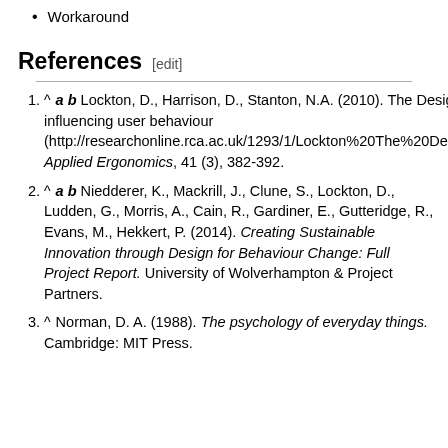Workaround
References [edit]
1. ^ a b Lockton, D., Harrison, D., Stanton, N.A. (2010). The Design with Intent Method: a design tool for influencing user behaviour (http://researchonline.rca.ac.uk/1293/1/Lockton%20The%20Design%20with%20Intent%20Method%202010.pdf). Applied Ergonomics, 41 (3), 382-392.
2. ^ a b Niedderer, K., Mackrill, J., Clune, S., Lockton, D., Ludden, G., Morris, A., Cain, R., Gardiner, E., Gutteridge, R., Evans, M., Hekkert, P. (2014). Creating Sustainable Innovation through Design for Behaviour Change: Full Project Report. University of Wolverhampton & Project Partners.
3. ^ Norman, D. A. (1988). The psychology of everyday things. Cambridge: MIT Press.